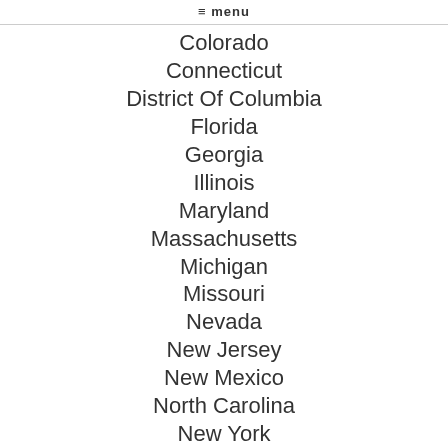≡ menu
Colorado
Connecticut
District Of Columbia
Florida
Georgia
Illinois
Maryland
Massachusetts
Michigan
Missouri
Nevada
New Jersey
New Mexico
North Carolina
New York
Ohio